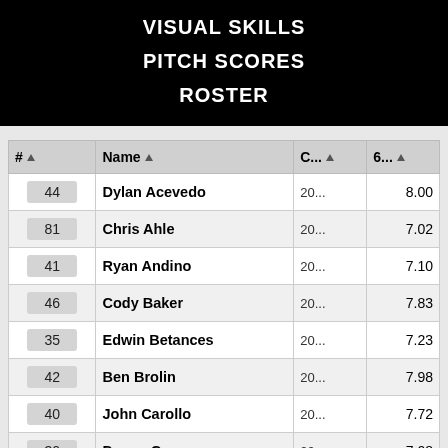VISUAL SKILLS
PITCH SCORES
ROSTER
| # | Name | C... | 6... |
| --- | --- | --- | --- |
| 44 | Dylan Acevedo | 20... | 8.00 |
| 81 | Chris Ahle | 20... | 7.02 |
| 41 | Ryan Andino | 20... | 7.10 |
| 46 | Cody Baker | 20... | 7.83 |
| 35 | Edwin Betances | 20... | 7.23 |
| 42 | Ben Brolin | 20... | 7.98 |
| 40 | John Carollo | 20... | 7.72 |
| 30 | Devon Cass | 20... | 7.08 |
| 34 | Tyler Castrataro | 20... | 7.13 |